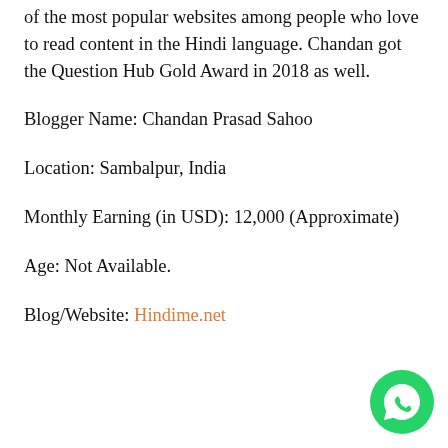of the most popular websites among people who love to read content in the Hindi language. Chandan got the Question Hub Gold Award in 2018 as well.
Blogger Name: Chandan Prasad Sahoo
Location: Sambalpur, India
Monthly Earning (in USD): 12,000 (Approximate)
Age: Not Available.
Blog/Website: Hindime.net
[Figure (logo): WhatsApp circular green button icon in bottom right corner]